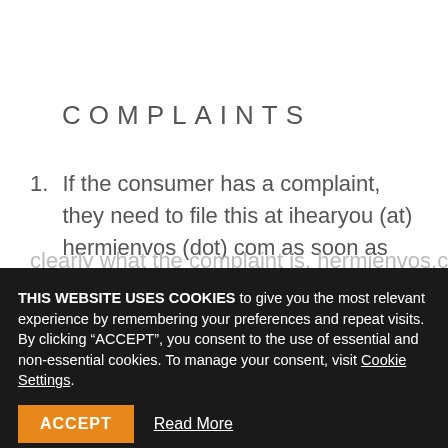COMPLAINTS
If the consumer has a complaint, they need to file this at ihearyou (at) hermienvos (dot) com as soon as possible, but within 14 days, stating clearly what the complaint is. hermienvos.com
THIS WEBSITE USES COOKIES to give you the most relevant experience by remembering your preferences and repeat visits. By clicking “ACCEPT”, you consent to the use of essential and non-essential cookies. To manage your consent, visit Cookie Settings.
ACCEPT
Read More